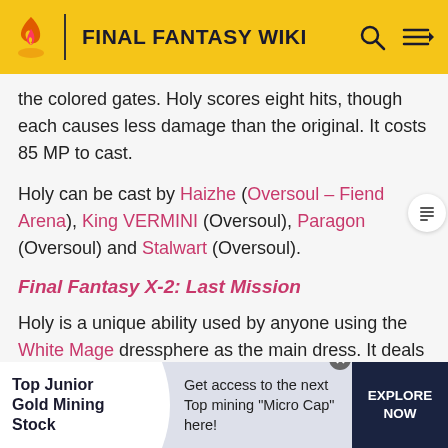FINAL FANTASY WIKI
the colored gates. Holy scores eight hits, though each causes less damage than the original. It costs 85 MP to cast.
Holy can be cast by Haizhe (Oversoul – Fiend Arena), King VERMINI (Oversoul), Paragon (Oversoul) and Stalwart (Oversoul).
Final Fantasy X-2: Last Mission
Holy is a unique ability used by anyone using the White Mage dressphere as the main dress. It deals holy damage to one enemy and its range is three tiles ahead of the
[Figure (other): Advertisement banner: Top Junior Gold Mining Stock - Get access to the next Top mining "Micro Cap" here! - EXPLORE NOW]